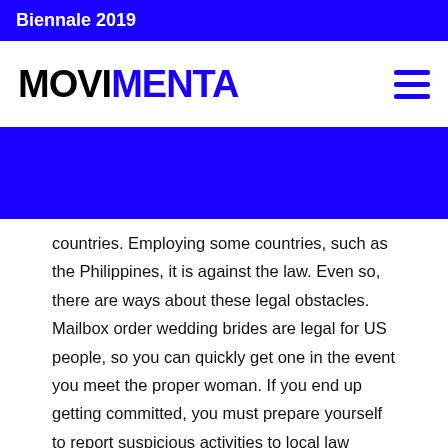Biennale 2019
MOVIMENTA
countries. Employing some countries, such as the Philippines, it is against the law. Even so, there are ways about these legal obstacles. Mailbox order wedding brides are legal for US people, so you can quickly get one in the event you meet the proper woman. If you end up getting committed, you must prepare yourself to report suspicious activities to local law enforcement. You should also